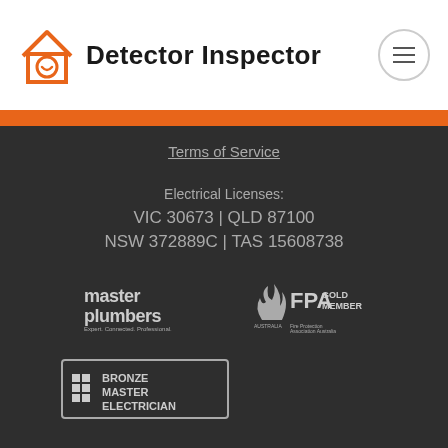Detector Inspector
Terms of Service
Electrical Licenses:
VIC 30673 | QLD 87100
NSW 372889C | TAS 15608738
[Figure (logo): Master Plumbers - Expert. Connected. Professional. logo in grey]
[Figure (logo): FPA GOLD MEMBER - Fire Protection Association Australia logo in grey]
[Figure (logo): Bronze Master Electrician logo in grey with border]